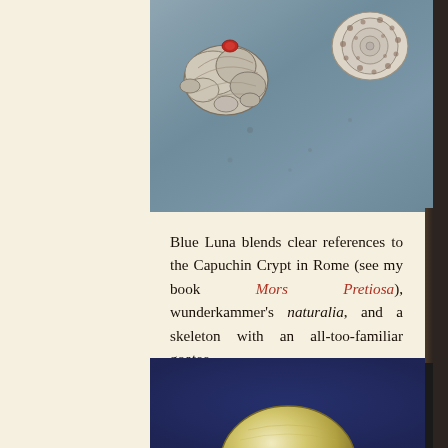[Figure (illustration): Illustration of two seashells on a blue-grey textured background. Left shell is a large irregular barnacle-like cluster with a small red element. Right shell is a spiral snail shell with spotted pattern.]
Blue Luna blends clear references to the Capuchin Crypt in Rome (see my book Mors Pretiosa), wunderkammer's naturalia, and a skeleton with an all-too-familiar goatee.
(Blue Luna: Facebook, Instagram)
[Figure (illustration): Ornamental decorative divider with scrollwork and floral motifs]
[Figure (illustration): Dark blue-purple background with a large round pale yellow-green fruit (melon or similar) visible at the bottom of the frame]